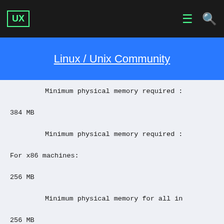UX
Linux / Unix Community
Minimum physical memory required :
384 MB
Minimum physical memory required :
For x86 machines:
256 MB
Minimum physical memory for all in
256 MB